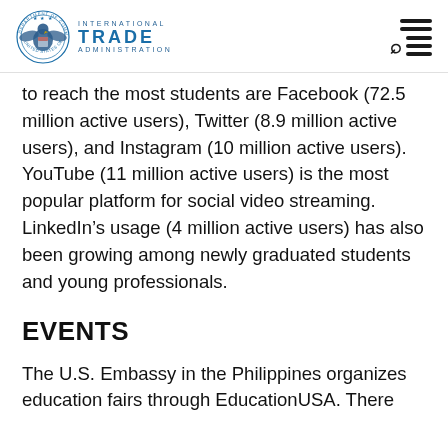International Trade Administration
to reach the most students are Facebook (72.5 million active users), Twitter (8.9 million active users), and Instagram (10 million active users). YouTube (11 million active users) is the most popular platform for social video streaming. LinkedIn’s usage (4 million active users) has also been growing among newly graduated students and young professionals.
EVENTS
The U.S. Embassy in the Philippines organizes education fairs through EducationUSA. There